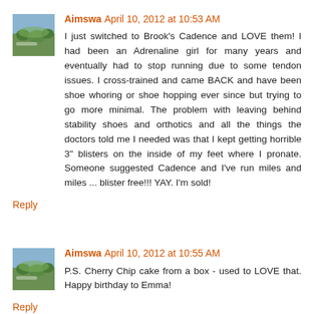Aimswa  April 10, 2012 at 10:53 AM
I just switched to Brook's Cadence and LOVE them! I had been an Adrenaline girl for many years and eventually had to stop running due to some tendon issues. I cross-trained and came BACK and have been shoe whoring or shoe hopping ever since but trying to go more minimal. The problem with leaving behind stability shoes and orthotics and all the things the doctors told me I needed was that I kept getting horrible 3" blisters on the inside of my feet where I pronate. Someone suggested Cadence and I've run miles and miles ... blister free!!! YAY. I'm sold!
Reply
Aimswa  April 10, 2012 at 10:55 AM
P.S. Cherry Chip cake from a box - used to LOVE that. Happy birthday to Emma!
Reply